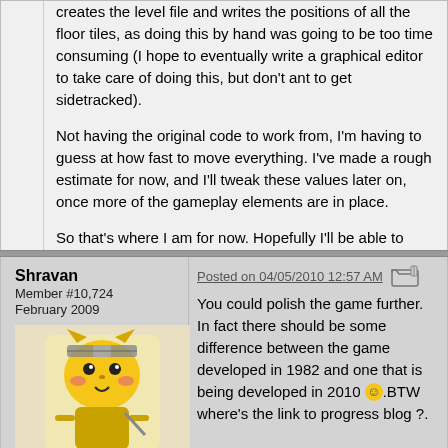creates the level file and writes the positions of all the floor tiles, as doing this by hand was going to be too time consuming (I hope to eventually write a graphical editor to take care of doing this, but don't ant to get sidetracked).
Not having the original code to work from, I'm having to guess at how fast to move everything. I've made a rough estimate for now, and I'll tweak these values later on, once more of the gameplay elements are in place.
So that's where I am for now. Hopefully I'll be able to report on more progress soon.
Shravan
Member #10,724
February 2009
Posted on 04/05/2010 12:57 AM
[Figure (illustration): Avatar image of a Pikachu character wearing a Naruto headband, holding a weapon]
You could polish the game further. In fact there should be some difference between the game developed in 1982 and one that is being developed in 2010 ☺.BTW where's the link to progress blog ?.